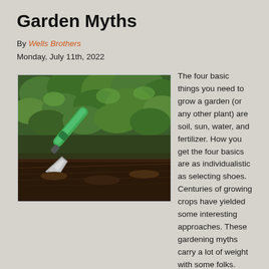Garden Myths
By Wells Brothers
Monday, July 11th, 2022
[Figure (photo): A green-handled garden trowel stuck in dark soil with green leafy plants in the background]
The four basic things you need to grow a garden (or any other plant) are soil, sun, water, and fertilizer. How you get the four basics are as individualistic as selecting shoes. Centuries of growing crops have yielded some interesting approaches. These gardening myths carry a lot of weight with some folks. Some of them work and some don't. One that works is to plant a fish (even fish sticks without the breading) in the hole below the crop. There should be soil between the fish and the plant. You have just planted an excellent slow-release fertilizer.